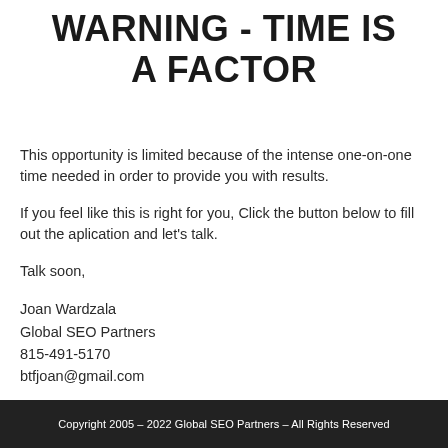WARNING - TIME IS A FACTOR
This opportunity is limited because of the intense one-on-one time needed in order to provide you with results.
If you feel like this is right for you, Click the button below to fill out the aplication and let's talk.
Talk soon,

Joan Wardzala
Global SEO Partners
815-491-5170
btfjoan@gmail.com
Copyright 2005 – 2022 Global SEO Partners – All Rights Reserved